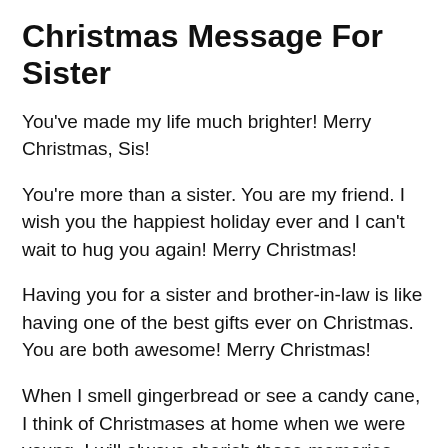Christmas Message For Sister
You've made my life much brighter! Merry Christmas, Sis!
You're more than a sister. You are my friend. I wish you the happiest holiday ever and I can't wait to hug you again! Merry Christmas!
Having you for a sister and brother-in-law is like having one of the best gifts ever on Christmas. You are both awesome! Merry Christmas!
When I smell gingerbread or see a candy cane, I think of Christmases at home when we were young. I will always cherish those memories, sis. This year let's make some new traditions and new memories. Merry Christmas!
All the fun we had during Christmas time are things I'll